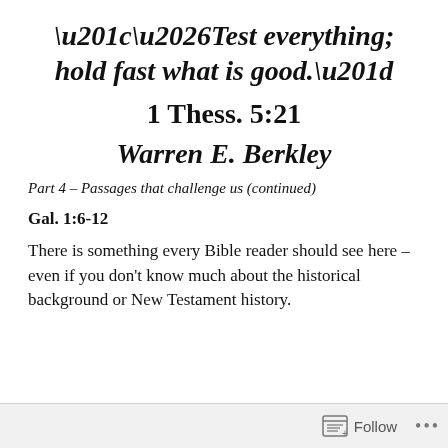“…Test everything; hold fast what is good.”
1 Thess. 5:21
Warren E. Berkley
Part 4 – Passages that challenge us (continued)
Gal. 1:6-12
There is something every Bible reader should see here – even if you don’t know much about the historical background or New Testament history.
Follow